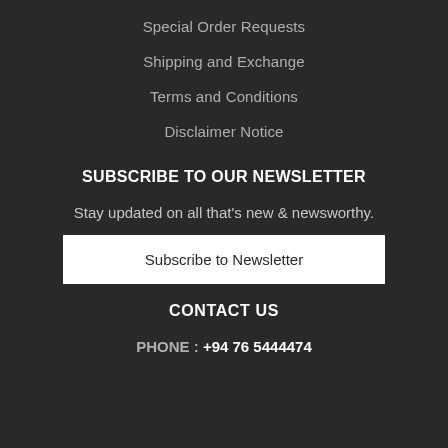Special Order Requests
Shipping and Exchange
Terms and Conditions
Disclaimer Notice
SUBSCRIBE TO OUR NEWSLETTER
Stay updated on all that's new & newsworthy.
Subscribe to Newsletter
CONTACT US
PHONE : +94 76 5444474